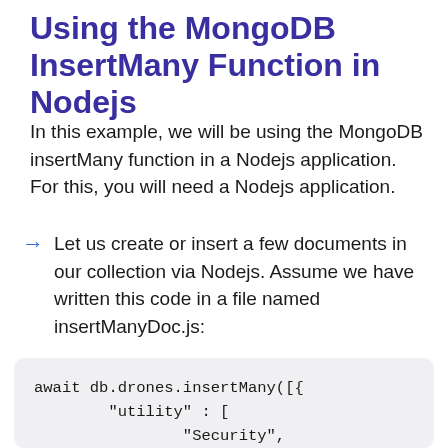Using the MongoDB InsertMany Function in Nodejs
In this example, we will be using the MongoDB insertMany function in a Nodejs application. For this, you will need a Nodejs application.
Let us create or insert a few documents in our collection via Nodejs. Assume we have written this code in a file named insertManyDoc.js:
await db.drones.insertMany([{
        "utility" : [
                "Security",
                "Combat",